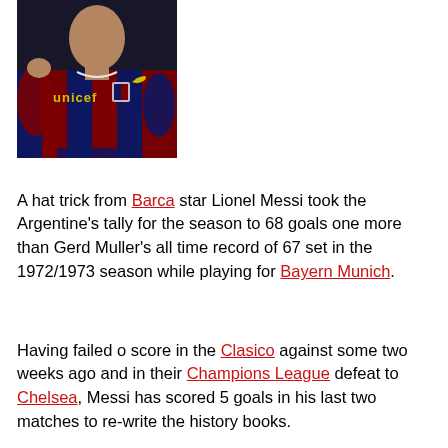[Figure (photo): A soccer player wearing a FC Barcelona red and blue striped jersey with 'unicef' sponsor text and Nike logo, photographed from the torso up in action]
A hat trick from Barca star Lionel Messi took the Argentine's tally for the season to 68 goals one more than Gerd Muller's all time record of 67 set in the 1972/1973 season while playing for Bayern Munich.
Having failed o score in the Clasico against some two weeks ago and in their Champions League defeat to Chelsea, Messi has scored 5 goals in his last two matches to re-write the history books.